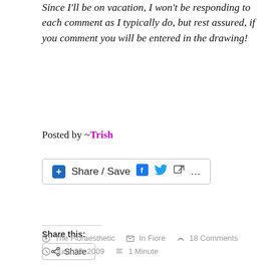Since I'll be on vacation, I won't be responding to each comment as I typically do, but rest assured, if you comment you will be entered in the drawing!
Posted by ~Trish
[Figure (screenshot): Share/Save social sharing button with Facebook, Twitter, share icons and ellipsis]
Share this:
[Figure (screenshot): Share button with share icon]
Loading...
The Floraesthetic   In Fiore   18 Comments   June 25, 2009   1 Minute